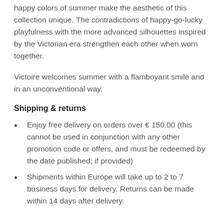happy colors of summer make the aesthetic of this collection unique. The contradictions of happy-go-lucky playfulness with the more advanced silhouettes inspired by the Victorian era strengthen each other when worn together.
Victoire welcomes summer with a flamboyant smile and in an unconventional way.
Shipping & returns
Enjoy free delivery on orders over € 150,00 (this cannot be used in conjunction with any other promotion code or offers, and must be redeemed by the date published; if provided)
Shipments within Europe will take up to 2 to 7 business days for delivery. Returns can be made within 14 days after delivery.